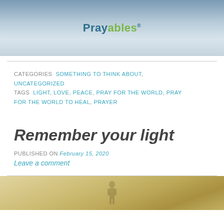[Figure (photo): Prayables website header banner with blurred blue-gray background and the Prayables logo centered]
CATEGORIES  SOMETHING TO THINK ABOUT, UNCATEGORIZED
TAGS  LIGHT, LOVE, PEACE, PRAY FOR THE WORLD, PRAY FOR THE WORLD TO HEAL, PRAYER
Remember your light
PUBLISHED ON February 15, 2020
Leave a comment
[Figure (photo): Bottom portion of a warm-toned bokeh photo with a silhouette figure, partially visible at the bottom of the page]